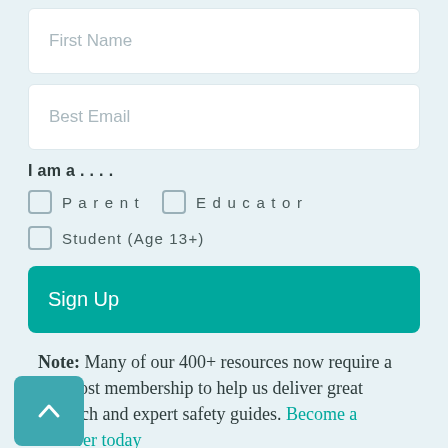First Name
Best Email
I am a....
Parent
Educator
Student (Age 13+)
Sign Up
Note: Many of our 400+ resources now require a low-cost membership to help us deliver great research and expert safety guides. Become a member today